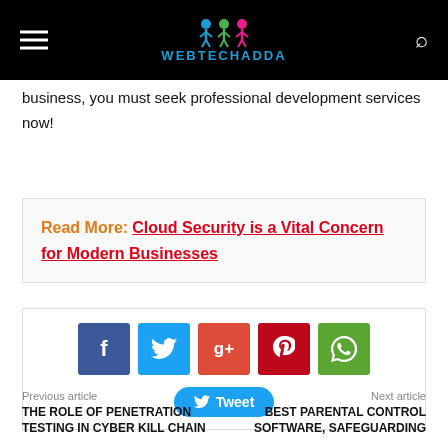WEBTECHADDA
business, you must seek professional development services now!
Read More:  Cloud Security is a Vital Concern for Modern Businesses
[Figure (infographic): Social sharing buttons: Facebook, Twitter, Google+, Pinterest, WhatsApp icons and a Tweet button]
Previous article
THE ROLE OF PENETRATION TESTING IN CYBER KILL CHAIN
Next article
BEST PARENTAL CONTROL SOFTWARE, SAFEGUARDING